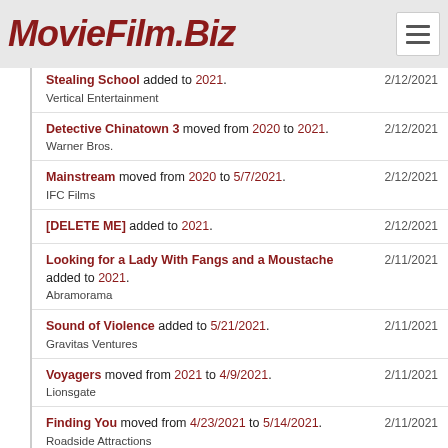MovieFilm.Biz
Stealing School added to 2021. | 2/12/2021 | Vertical Entertainment
Detective Chinatown 3 moved from 2020 to 2021. | 2/12/2021 | Warner Bros.
Mainstream moved from 2020 to 5/7/2021. | 2/12/2021 | IFC Films
[DELETE ME] added to 2021. | 2/12/2021
Looking for a Lady With Fangs and a Moustache added to 2021. | 2/11/2021 | Abramorama
Sound of Violence added to 5/21/2021. | 2/11/2021 | Gravitas Ventures
Voyagers moved from 2021 to 4/9/2021. | 2/11/2021 | Lionsgate
Finding You moved from 4/23/2021 to 5/14/2021. | 2/11/2021 | Roadside Attractions
Mustang Saviors added to 2021. | 2/11/2021